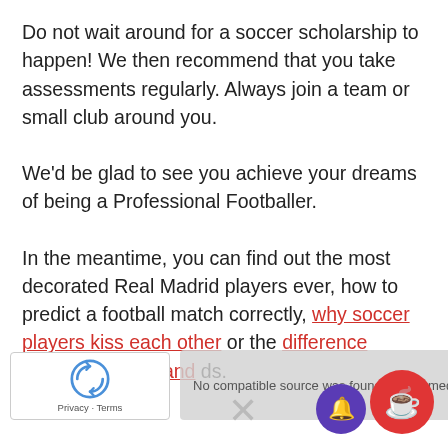Do not wait around for a soccer scholarship to happen! We then recommend that you take assessments regularly. Always join a team or small club around you.
We'd be glad to see you achieve your dreams of being a Professional Footballer.
In the meantime, you can find out the most decorated Real Madrid players ever, how to predict a football match correctly, why soccer players kiss each other or the difference between Striker and ...ds.